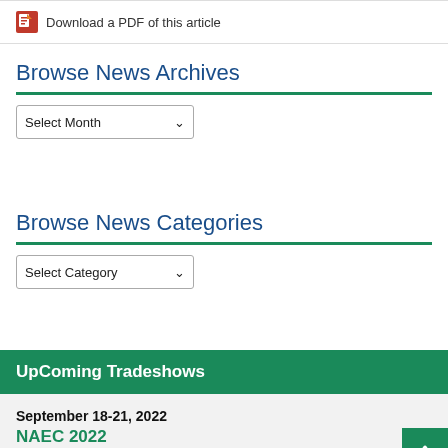Download a PDF of this article
Browse News Archives
[Figure (other): Select Month dropdown control]
Browse News Categories
[Figure (other): Select Category dropdown control]
UpComing Tradeshows
September 18-21, 2022
NAEC 2022